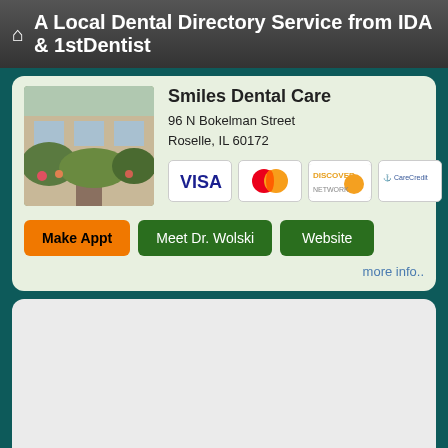A Local Dental Directory Service from IDA & 1stDentist
Smiles Dental Care
96 N Bokelman Street
Roselle, IL 60172
[Figure (photo): Exterior photo of dental office with garden/greenery in front]
[Figure (logo): Payment method logos: VISA, MasterCard, Discover, CareCredit]
Make Appt   Meet Dr. Wolski   Website
more info..
[Figure (other): Empty gray card / advertisement area]